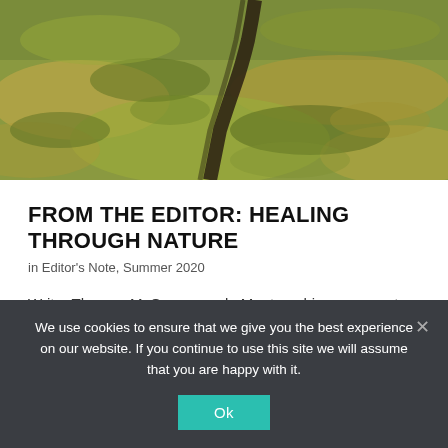[Figure (photo): Aerial/wide view of a winding dirt path through green and golden grass meadow]
FROM THE EDITOR: HEALING THROUGH NATURE
in Editor's Note, Summer 2020
Writer Thomas McGuane made Montana his permanent home in 1978. After working hard in Hollywood and playing hard in Key West, Florida — where he was
We use cookies to ensure that we give you the best experience on our website. If you continue to use this site we will assume that you are happy with it.